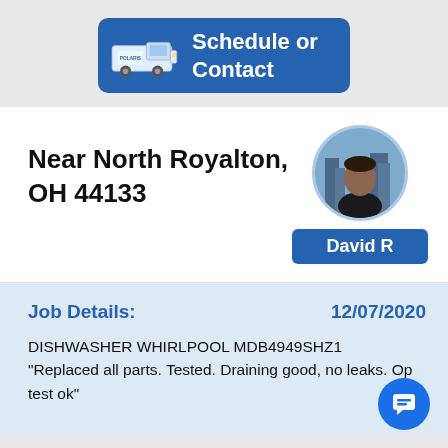[Figure (illustration): Blue 'Schedule or Contact' button with a service van icon on the left and white bold text on the right]
Near North Royalton, OH 44133
[Figure (photo): Circular profile photo of technician David R]
David R
Job Details:
12/07/2020
DISHWASHER WHIRLPOOL MDB4949SHZ1 "Replaced all parts. Tested. Draining good, no leaks. Op test ok"